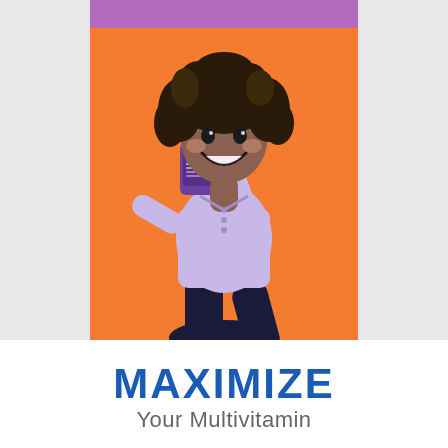[Figure (photo): A smiling young girl with curly dark hair, wearing a light purple long-sleeve polo shirt and dark pants, holding up a purple bottle of Mighty Bears multivitamin gummies. She is posed energetically against an orange background with a purple bar at the top.]
MAXIMIZE
Your Multivitamin